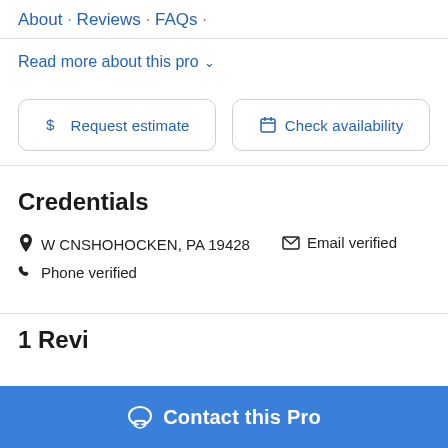About · Reviews · FAQs ·
Read more about this pro ∨
$ Request estimate
Check availability
Credentials
W CNSHOHOCKEN, PA 19428   Email verified
Phone verified
1 Revi...
Contact this Pro